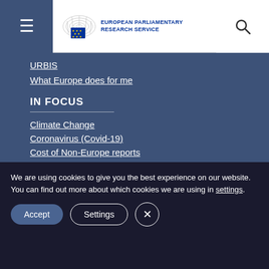European Parliamentary Research Service
URBIS
What Europe does for me
IN FOCUS
Climate Change
Coronavirus (Covid-19)
Cost of Non-Europe reports
EP Plenary Sessions
Immigration
Latest Media
We are using cookies to give you the best experience on our website.
You can find out more about which cookies we are using in settings.
Accept | Settings | Close